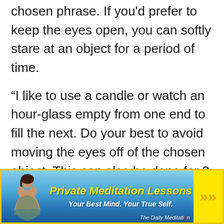chosen phrase. If you'd prefer to keep the eyes open, you can softly stare at an object for a period of time.
“I like to use a candle or watch an hourglass empty from one end to fill the next. Do your best to avoid moving the eyes off of the chosen object. This can also be done for 3 minutes daily for positive effects.”
[Figure (infographic): Advertisement banner for Private Meditation Lessons with tagline 'Your Best Mind. Your True Self.' and branding 'The Daily Meditation'. Yellow border, blue ocean background, woman meditating on left, yellow arrow chevrons on right.]